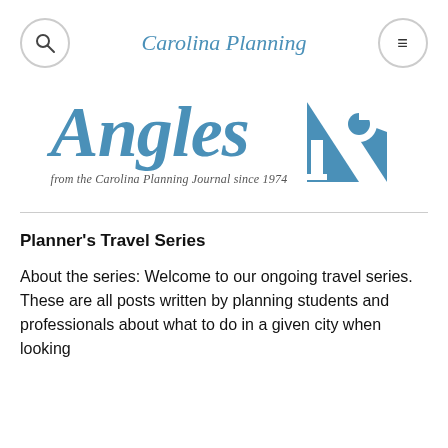Carolina Planning
[Figure (logo): Angles from the Carolina Planning Journal since 1974 logo with CP emblem]
Planner's Travel Series
About the series: Welcome to our ongoing travel series. These are all posts written by planning students and professionals about what to do in a given city when looking